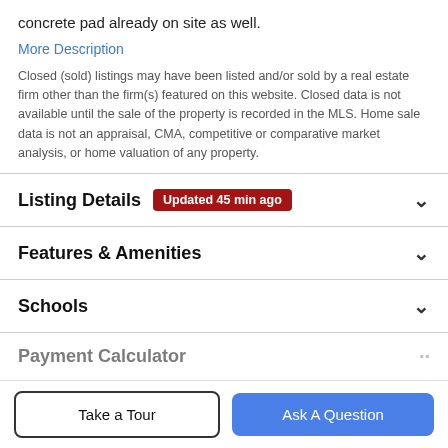concrete pad already on site as well.
More Description
Closed (sold) listings may have been listed and/or sold by a real estate firm other than the firm(s) featured on this website. Closed data is not available until the sale of the property is recorded in the MLS. Home sale data is not an appraisal, CMA, competitive or comparative market analysis, or home valuation of any property.
Listing Details
Features & Amenities
Schools
Payment Calculator
Take a Tour
Ask A Question